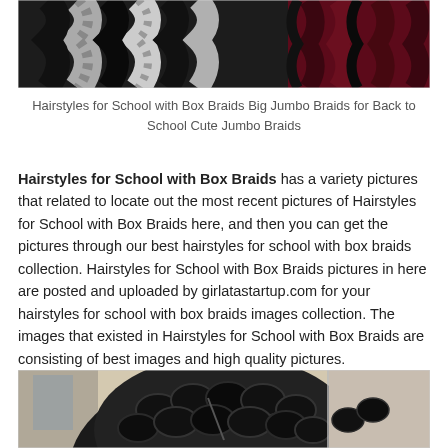[Figure (photo): Close-up photo of box braids hairstyle with black, white/grey, and dark maroon/burgundy colors]
Hairstyles for School with Box Braids Big Jumbo Braids for Back to School Cute Jumbo Braids
Hairstyles for School with Box Braids has a variety pictures that related to locate out the most recent pictures of Hairstyles for School with Box Braids here, and then you can get the pictures through our best hairstyles for school with box braids collection. Hairstyles for School with Box Braids pictures in here are posted and uploaded by girlatastartup.com for your hairstyles for school with box braids images collection. The images that existed in Hairstyles for School with Box Braids are consisting of best images and high quality pictures.
[Figure (photo): Photo of person with large box braids hairstyle, close-up view from above showing the braided pattern]